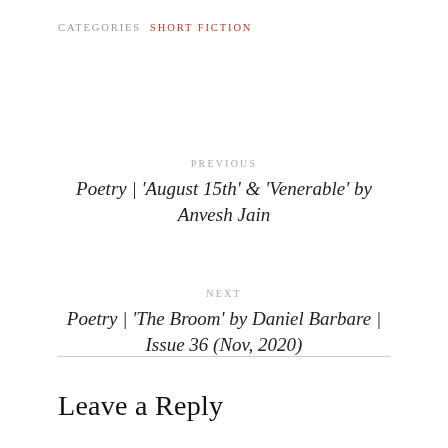CATEGORIES  SHORT FICTION
PREVIOUS
Poetry | 'August 15th' & 'Venerable' by Anvesh Jain
NEXT
Poetry | 'The Broom' by Daniel Barbare | Issue 36 (Nov, 2020)
Leave a Reply